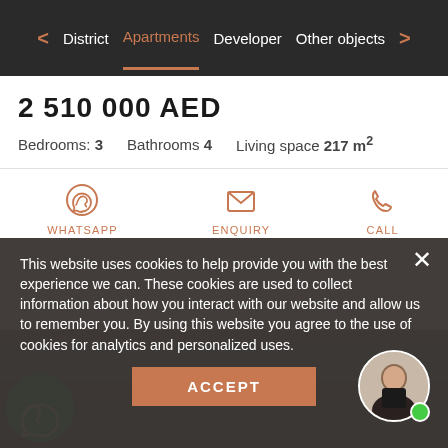< District  Apartments  Developer  Other objects  >
2 510 000 AED
Bedrooms: 3   Bathrooms 4   Living space 217 m²
WHATSAPP   ENQUIRY   CALL
This website uses cookies to help provide you with the best experience we can. These cookies are used to collect information about how you interact with our website and allow us to remember you. By using this website you agree to the use of cookies for analytics and personalized uses.
ACCEPT